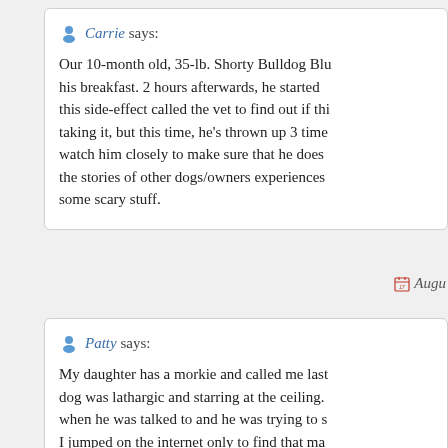Carrie says: Our 10-month old, 35-lb. Shorty Bulldog Blu... his breakfast. 2 hours afterwards, he started... this side-effect called the vet to find out if thi... taking it, but this time, he's thrown up 3 time... watch him closely to make sure that he does... the stories of other dogs/owners experiences... some scary stuff.
Patty says: My daughter has a morkie and called me last... dog was lathargic and starring at the ceiling... when he was talked to and he was trying to s... I jumped on the internet only to find that ma... reaction with Trifexis. (She gve him Trifexis...